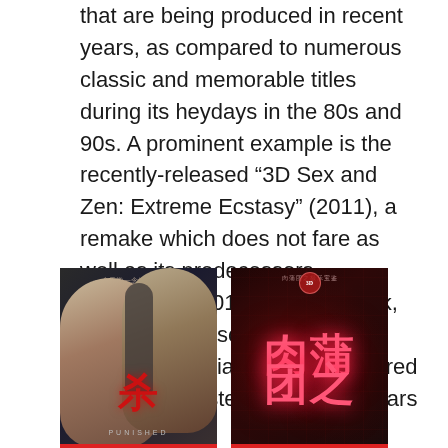that are being produced in recent years, as compared to numerous classic and memorable titles during its heydays in the 80s and 90s. A prominent example is the recently-released “3D Sex and Zen: Extreme Ecstasy” (2011), a remake which does not fare as well as its predecessors. “Punished” (2011), a recent flick, also does not score well for this writer – especially when compared to classic masterpieces from years before.
[Figure (photo): Movie poster for 'Punished' (2011) - dark thriller with two stern-faced men and red Chinese characters]
[Figure (photo): Movie poster for '3D Sex and Zen: Extreme Ecstasy' (2011) - dark red ornate design with glowing pink Chinese characters]